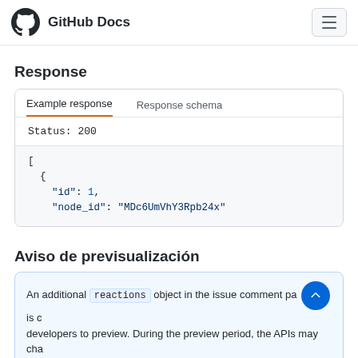GitHub Docs
Response
Example response	Response schema
Status: 200
[
  {
    "id": 1,
    "node_id": "MDc6UmVhY3Rpb24x"
Aviso de previsualización
An additional reactions object in the issue comment payload is currently available for developers to preview. During the preview period, the APIs may cha...
Please see the blog post for full details.